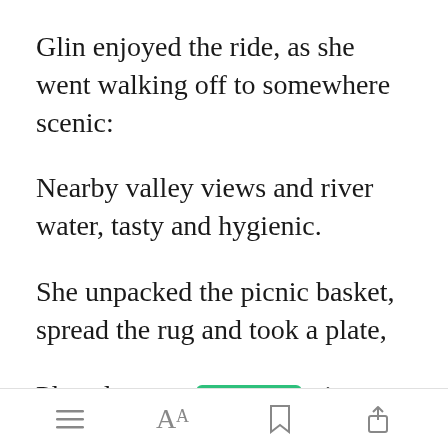Glin enjoyed the ride, as she went walking off to somewhere scenic:
Nearby valley views and river water, tasty and hygienic.
She unpacked the picnic basket, spread the rug and took a plate,
Placed young [Open in app] n it saying,
[menu icon] [font size icon] [bookmark icon] [share icon]